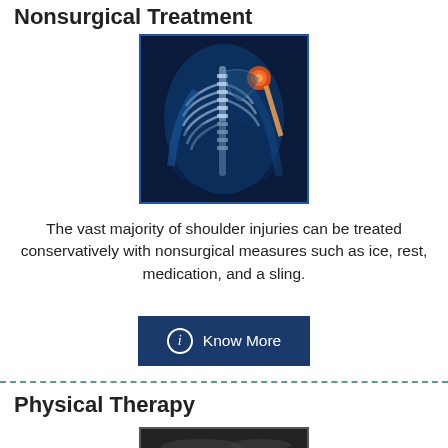Nonsurgical Treatment
[Figure (illustration): Medical illustration of a human skeleton/body from behind, shown in blue tones with the shoulder joint highlighted in red/orange, indicating a shoulder injury.]
The vast majority of shoulder injuries can be treated conservatively with nonsurgical measures such as ice, rest, medication, and a sling.
[Figure (other): Blue button with info circle icon and text 'Know More']
Physical Therapy
[Figure (photo): Dark photograph showing physical therapy session, partially visible at bottom of page.]